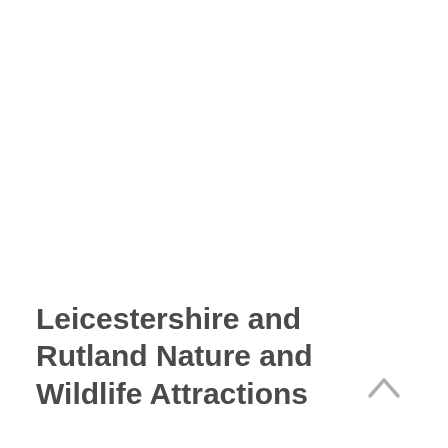Leicestershire and Rutland Nature and Wildlife Attractions